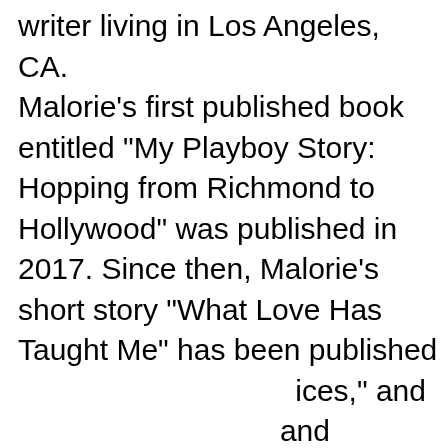writer living in Los Angeles, CA. Malorie's first published book entitled "My Playboy Story: Hopping from Richmond to Hollywood" was published in 2017. Since then, Malorie's short story "What Love Has Taught Me" has been published ices," and and and publish her next book about travel